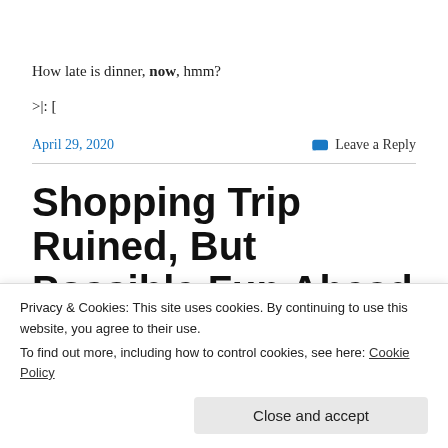How late is dinner, now, hmm?
>|: [
April 29, 2020
Leave a Reply
Shopping Trip Ruined, But Possible Fun Ahead
Privacy & Cookies: This site uses cookies. By continuing to use this website, you agree to their use.
To find out more, including how to control cookies, see here: Cookie Policy
Close and accept